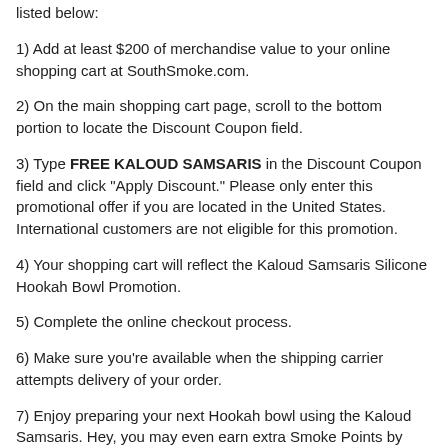listed below:
1) Add at least $200 of merchandise value to your online shopping cart at SouthSmoke.com.
2) On the main shopping cart page, scroll to the bottom portion to locate the Discount Coupon field.
3) Type FREE KALOUD SAMSARIS in the Discount Coupon field and click "Apply Discount." Please only enter this promotional offer if you are located in the United States. International customers are not eligible for this promotion.
4) Your shopping cart will reflect the Kaloud Samsaris Silicone Hookah Bowl Promotion.
5) Complete the online checkout process.
6) Make sure you're available when the shipping carrier attempts delivery of your order.
7) Enjoy preparing your next Hookah bowl using the Kaloud Samsaris. Hey, you may even earn extra Smoke Points by referring friends and family to SouthSmoke.com...